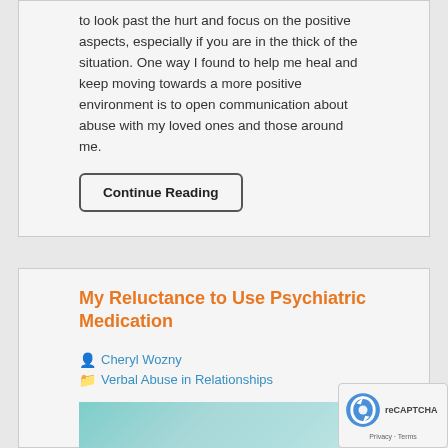to look past the hurt and focus on the positive aspects, especially if you are in the thick of the situation. One way I found to help me heal and keep moving towards a more positive environment is to open communication about abuse with my loved ones and those around me.
Continue Reading
My Reluctance to Use Psychiatric Medication
Cheryl Wozny
Verbal Abuse in Relationships
[Figure (photo): Teal/turquoise colored background image, partially visible at the bottom of the page]